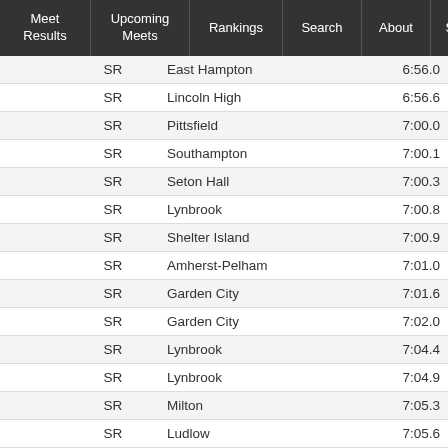Meet Results | Upcoming Meets | Rankings | Search | About | Sign Up | Log in / trouble
|  | Grade | School | Time |
| --- | --- | --- | --- |
|  | SR | East Hampton | 6:56.0 |
|  | SR | Lincoln High | 6:56.6 |
|  | SR | Pittsfield | 7:00.0 |
|  | SR | Southampton | 7:00.1 |
|  | SR | Seton Hall | 7:00.3 |
|  | SR | Lynbrook | 7:00.8 |
|  | SR | Shelter Island | 7:00.9 |
|  | SR | Amherst-Pelham | 7:01.0 |
|  | SR | Garden City | 7:01.6 |
|  | SR | Garden City | 7:02.0 |
|  | SR | Lynbrook | 7:04.4 |
|  | SR | Lynbrook | 7:04.9 |
|  | SR | Milton | 7:05.3 |
|  | SR | Ludlow | 7:05.6 |
|  | SR | Mount St. Charles | 7:05.9 |
|  | SR | Hackley School | 7:06.8 |
|  | SR | Lynbrook | 7:07.3 |
|  | SR | Hampshire | 7:07.6 |
|  | SR | Middleboro | 7:08.9 |